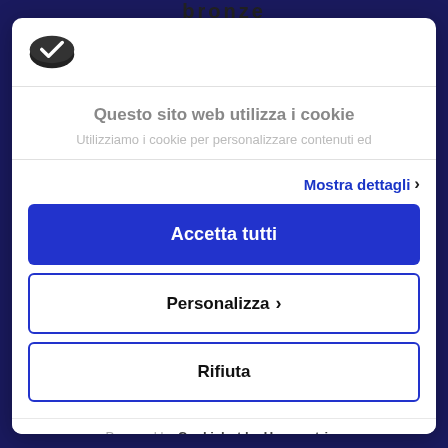Bronze
[Figure (logo): Cookiebot cookie logo icon - black cookie/disc shape with check mark]
Questo sito web utilizza i cookie
Utilizziamo i cookie per personalizzare contenuti ed
Mostra dettagli >
Accetta tutti
Personalizza >
Rifiuta
Powered by Cookiebot by Usercentrics